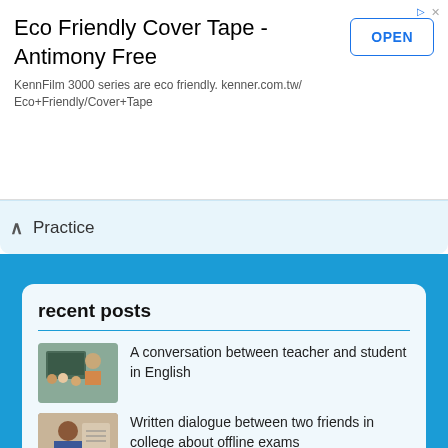[Figure (infographic): Advertisement banner for Eco Friendly Cover Tape - Antimony Free by KennFilm 3000 series, with OPEN button]
Eco Friendly Cover Tape - Antimony Free
KennFilm 3000 series are eco friendly. kenner.com.tw/Eco+Friendly/Cover+Tape
Practice
recent posts
A conversation between teacher and student in English
Written dialogue between two friends in college about offline exams
Conversation between brother and sister about utilizing time during vacations